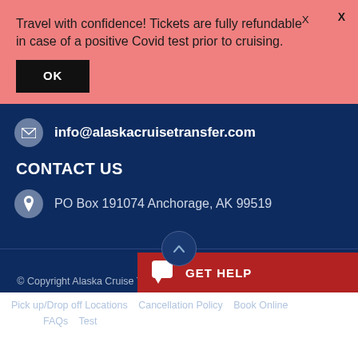Travel with confidence! Tickets are fully refundable in case of a positive Covid test prior to cruising.
OK
info@alaskacruisetransfer.com
CONTACT US
PO Box 191074 Anchorage, AK 99519
© Copyright Alaska Cruise Transportation 2010-2022 All Rights Reserved
Pick up/Drop off Locations   Cancellation Policy   Book Online   FAQs   Test
GET HELP